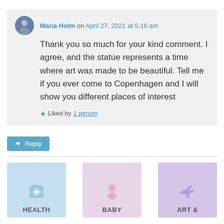Maria Holm on April 27, 2021 at 5:16 am
Thank you so much for your kind comment. I agree, and the statue represents a time where art was made to be beautiful. Tell me if you ever come to Copenhagen and I will show you different places of interest
★ Liked by 1 person
↪ Reply
HEALTH
BABY
ART &